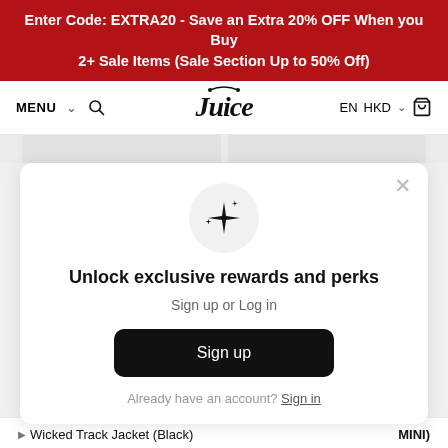Enter Code: EXTRA20 - Save an Extra 20% OFF When you Buy 2+ Sale Items (Sale Section Up to 50% Off)
[Figure (screenshot): Navigation bar with MENU, search icon, Juice store logo in ornate script font, EN HKD currency selector, and cart icon]
[Figure (infographic): Modal popup with sparkle/stars icon in gray circle, heading 'Unlock exclusive rewards and perks', subtext 'Sign up or Log in', a black 'Sign up' button, and 'Already have an account? Sign in' link]
Wicked Track Jacket (Black)
MINI)